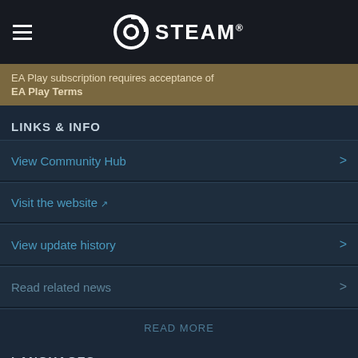STEAM
EA Play subscription requires acceptance of EA Play Terms
LINKS & INFO
View Community Hub
Visit the website
View update history
Read related news
READ MORE
LANGUAGES
English and 4 more